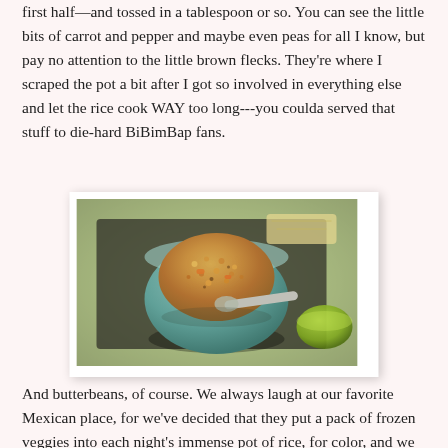first half—and tossed in a tablespoon or so. You can see the little bits of carrot and pepper and maybe even peas for all I know, but pay no attention to the little brown flecks. They're where I scraped the pot a bit after I got so involved in everything else and let the rice cook WAY too long---you coulda served that stuff to die-hard BiBimBap fans.
[Figure (photo): A green ceramic bowl filled with fried rice containing visible pieces of carrot and vegetables, with a metal spoon resting in it. The bowl sits on a patterned surface surrounded by other dishes including what appears to be a green sauce or side dish.]
And butterbeans, of course. We always laugh at our favorite Mexican place, for we've decided that they put a pack of frozen veggies into each night's immense pot of rice, for color, and we always check to see who got the good luck by getting a butterbean,